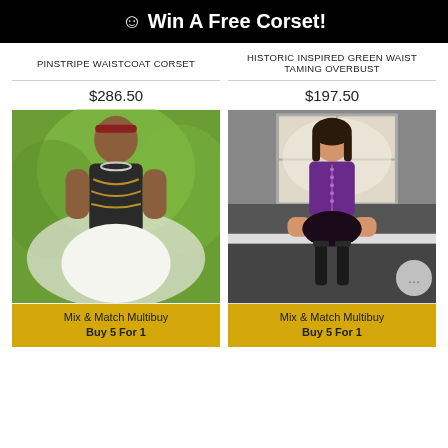☺ Win A Free Corset!
PINSTRIPE WAISTCOAT CORSET
$286.50
HISTORIC INSPIRED GREEN WAIST TAMING OVERBUST
$197.50
[Figure (photo): Woman wearing a dark steampunk-style corset with gold chain embellishments, standing outdoors with green bokeh background]
Mix & Match Multibuy
Buy 5 For 1
[Figure (photo): Woman wearing a purple overbust corset with black skirt and stockings, sitting in front of a window]
Mix & Match Multibuy
Buy 5 For 1